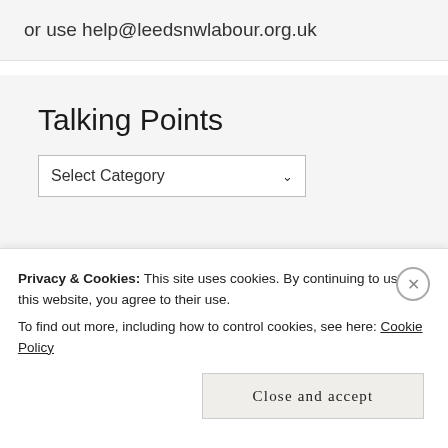or use help@leedsnwlabour.org.uk
Talking Points
Select Category
Privacy & Cookies: This site uses cookies. By continuing to use this website, you agree to their use.
To find out more, including how to control cookies, see here: Cookie Policy
Close and accept